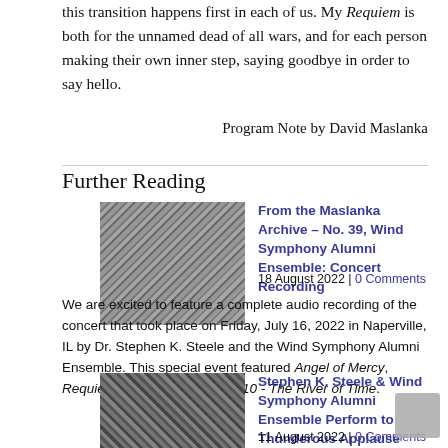this transition happens first in each of us. My Requiem is both for the unnamed dead of all wars, and for each person making their own inner step, saying goodbye in order to say hello.
Program Note by David Maslanka
Further Reading
[Figure (photo): Black and white photo of an orchestra ensemble performing, conductor visible from behind with raised baton, music stands in foreground]
From the Maslanka Archive – No. 39, Wind Symphony Alumni Ensemble: Concert Recording
18 August 2022 | 0 Comments
We are excited to feature a complete audio recording of the concert that took place on Friday, July 16, 2022 in Naperville, IL by Dr. Stephen K. Steele and the Wind Symphony Alumni Ensemble. This special event featured Angel of Mercy, Requiem, and Symphony No. 10 - The River of Time.
[Figure (photo): Color photo of a conductor on stage seen from behind with arms raised, audience visible in background]
Stephen K. Steele & Wind Symphony Alumni Ensemble Perform to Thunderous Applause
11 August 2022 | 0 Comments